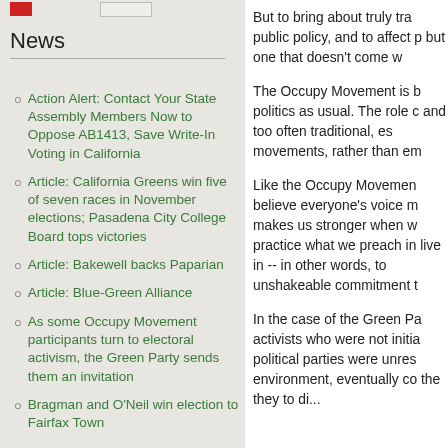News
Action Alert: Contact Your State Assembly Members Now to Oppose AB1413, Save Write-In Voting in California
Article: California Greens win five of seven races in November elections; Pasadena City College Board tops victories
Article: Bakewell backs Paparian
Article: Blue-Green Alliance
As some Occupy Movement participants turn to electoral activism, the Green Party sends them an invitation
Bragman and O'Neil win election to Fairfax Town
But to bring about truly tra public policy, and to affect p but one that doesn't come w
The Occupy Movement is b politics as usual. The role c and too often traditional, es movements, rather than em
Like the Occupy Movemen believe everyone's voice m makes us stronger when w practice what we preach in live in -- in other words, to unshakeable commitment t
In the case of the Green Pa activists who were not initia political parties were unres environment, eventually co the they to di...